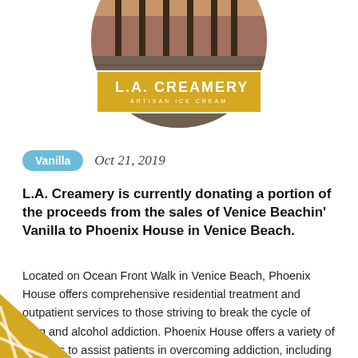[Figure (photo): Circular cropped photo of a city/beach location scene at the top of the page]
[Figure (logo): L.A. Creamery Artisan Ice Cream logo badge in gold/yellow with white text and border]
Vanilla   Oct 21, 2019
L.A. Creamery is currently donating a portion of the proceeds from the sales of Venice Beachin' Vanilla to Phoenix House in Venice Beach.
Located on Ocean Front Walk in Venice Beach, Phoenix House offers comprehensive residential treatment and outpatient services to those striving to break the cycle of drug and alcohol addiction. Phoenix House offers a variety of services to assist patients in overcoming addiction, including group sessions which address recovery dynamics, relapse prevention, life skills, trauma and anger management, as well as individualized counseling with the goal of reuniting